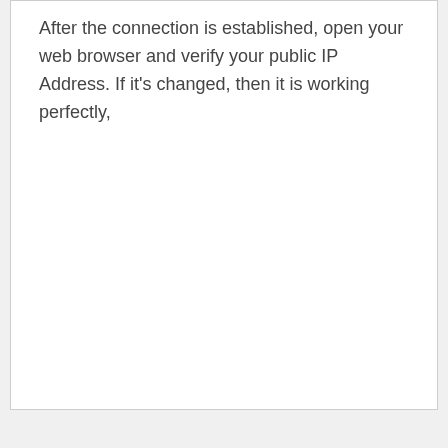After the connection is established, open your web browser and verify your public IP Address. If it's changed, then it is working perfectly,